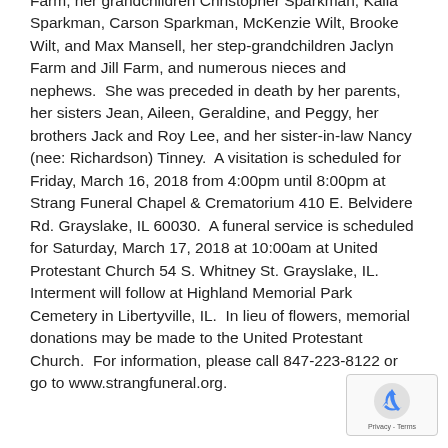Farm, her grandchildren Christopher Sparkman, Kaila Sparkman, Carson Sparkman, McKenzie Wilt, Brooke Wilt, and Max Mansell, her step-grandchildren Jaclyn Farm and Jill Farm, and numerous nieces and nephews.  She was preceded in death by her parents, her sisters Jean, Aileen, Geraldine, and Peggy, her brothers Jack and Roy Lee, and her sister-in-law Nancy (nee: Richardson) Tinney.  A visitation is scheduled for Friday, March 16, 2018 from 4:00pm until 8:00pm at Strang Funeral Chapel & Crematorium 410 E. Belvidere Rd. Grayslake, IL 60030.  A funeral service is scheduled for Saturday, March 17, 2018 at 10:00am at United Protestant Church 54 S. Whitney St. Grayslake, IL.  Interment will follow at Highland Memorial Park Cemetery in Libertyville, IL.  In lieu of flowers, memorial donations may be made to the United Protestant Church.  For information, please call 847-223-8122 or go to www.strangfuneral.org.
[Figure (other): reCAPTCHA badge with circular arrow icon and Privacy - Terms text]